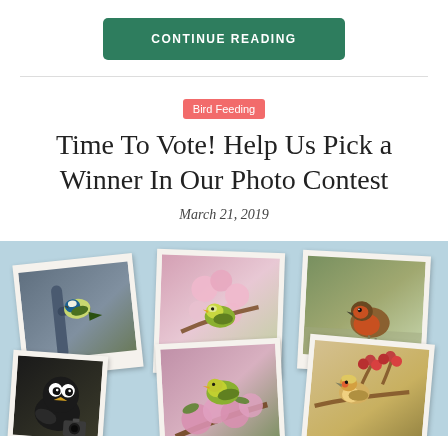CONTINUE READING
Bird Feeding
Time To Vote! Help Us Pick a Winner In Our Photo Contest
March 21, 2019
[Figure (photo): Collage of bird photos on light blue background: blue tit on pipe, greenfinch on blossom, robin on ground, cartoon bird mascot with camera, bird on blossom, small bird on berry branch. Arranged as polaroid-style photo prints.]